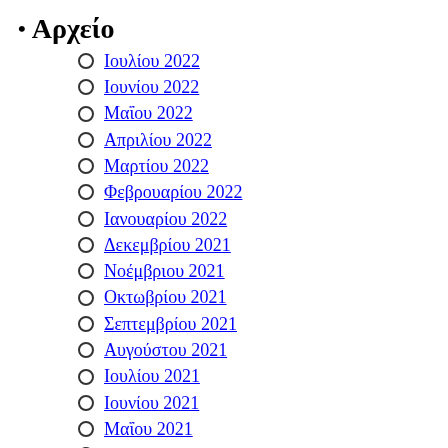Αρχείο
Ιουλίου 2022
Ιουνίου 2022
Μαΐου 2022
Απριλίου 2022
Μαρτίου 2022
Φεβρουαρίου 2022
Ιανουαρίου 2022
Δεκεμβρίου 2021
Νοέμβριου 2021
Οκτωβρίου 2021
Σεπτεμβρίου 2021
Αυγούστου 2021
Ιουλίου 2021
Ιουνίου 2021
Μαΐου 2021
Απριλίου 2021
Μαρτίου 2021
Φεβρουαρίου 2021
Ιανουαρίου 2021
Δεκεμβρίου 2020
Νοέμβριου 2020
Οκτωβρίου 2020